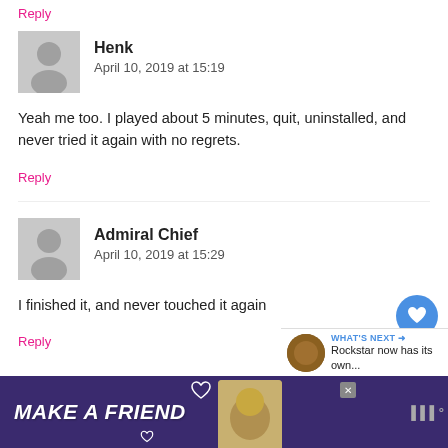Reply
Henk
April 10, 2019 at 15:19
Yeah me too. I played about 5 minutes, quit, uninstalled, and never tried it again with no regrets.
Reply
Admiral Chief
April 10, 2019 at 15:29
I finished it, and never touched it again
Reply
[Figure (infographic): Advertisement bar at bottom: purple background, text MAKE A FRIEND in white italic bold, dog image, close button, and external logo]
[Figure (infographic): WHAT'S NEXT arrow label with thumbnail and text: Rockstar now has its own...]